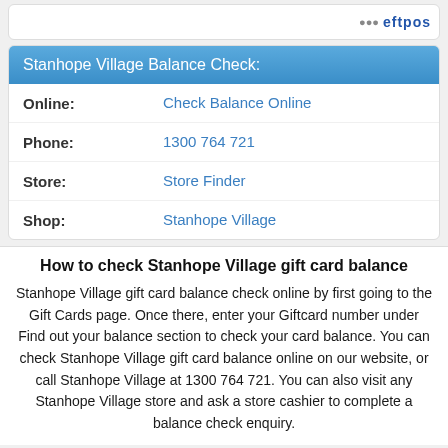[Figure (logo): eftpos logo with colorful dots]
Stanhope Village Balance Check:
Online:   Check Balance Online
Phone:   1300 764 721
Store:   Store Finder
Shop:   Stanhope Village
How to check Stanhope Village gift card balance
Stanhope Village gift card balance check online by first going to the Gift Cards page. Once there, enter your Giftcard number under Find out your balance section to check your card balance. You can check Stanhope Village gift card balance online on our website, or call Stanhope Village at 1300 764 721. You can also visit any Stanhope Village store and ask a store cashier to complete a balance check enquiry.